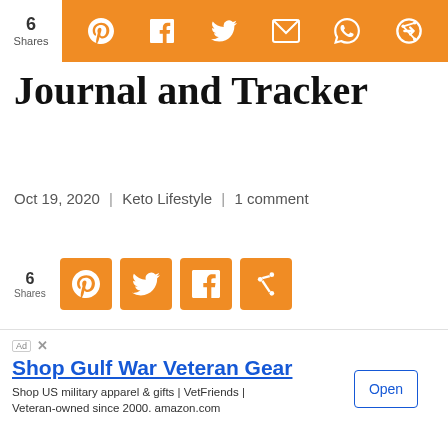[Figure (infographic): Social share bar at top: shows count '6 Shares' on white left, and orange bar with icons Pinterest, Facebook, Twitter, Email, WhatsApp, and circular share icon]
Journal and Tracker
Oct 19, 2020 | Keto Lifestyle | 1 comment
[Figure (infographic): Inline share widget: '6 Shares' and four orange square icon buttons for Pinterest, Twitter, Facebook, and circular share]
In search of a good keto diary? One that captures all the macros and food lists and everything you need on a low carb diet? I ave just the thing for you. I love my
[Figure (infographic): Advertisement banner: 'Shop Gulf War Veteran Gear – Shop US military apparel & gifts | VetFriends | Veteran-owned since 2000. amazon.com' with an Open button]